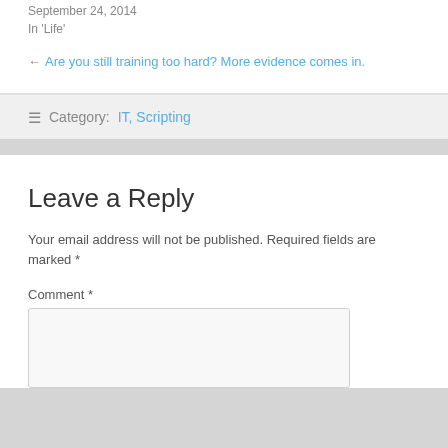September 24, 2014
In 'Life'
← Are you still training too hard? More evidence comes in.
Category: IT, Scripting
Leave a Reply
Your email address will not be published. Required fields are marked *
Comment *